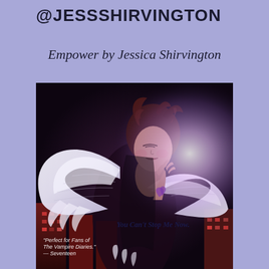@JESSSHIRVINGTON
Empower by Jessica Shirvington
[Figure (illustration): Book cover for 'Empower' by Jessica Shirvington showing a young woman with large white angel wings, dark curly hair, eyes closed. Text on cover reads 'You Can’t Stop Me Now.' and '"Perfect for Fans of The Vampire Diaries." — Seventeen'. Dark dramatic cityscape background with bright light burst on the right side.]